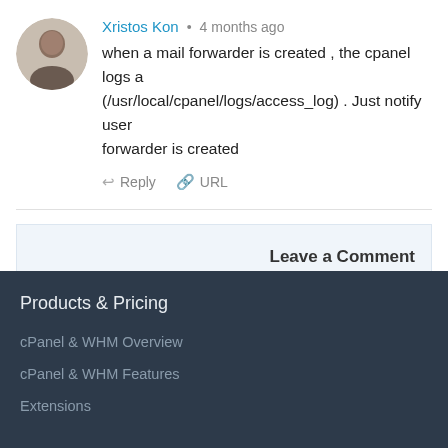Xristos Kon • 4 months ago
when a mail forwarder is created , the cpanel logs a (/usr/local/cpanel/logs/access_log) . Just notify user forwarder is created
Reply URL
Leave a Comment
Products & Pricing
cPanel & WHM Overview
cPanel & WHM Features
Extensions